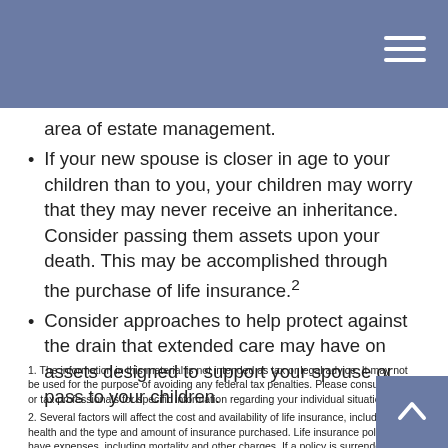area of estate management.
If your new spouse is closer in age to your children than to you, your children may worry that they may never receive an inheritance. Consider passing them assets upon your death. This may be accomplished through the purchase of life insurance.²
Consider approaches to help protect against the drain that extended care may have on assets designed to support your spouse or pass to your children.
1. The information in this material is not intended as tax or legal advice. It may not be used for the purpose of avoiding any federal tax penalties. Please consult legal or tax professionals for specific information regarding your individual situation.
2. Several factors will affect the cost and availability of life insurance, including age, health and the type and amount of insurance purchased. Life insurance policies have expenses, including mortality and other charges. If a policy is surrendered prematurely, the policyholder also may pay surrender charges and have income tax implications. You should consider determining whether you are insurable before implementing a strategy involving life insurance. Any guarantees associated with a